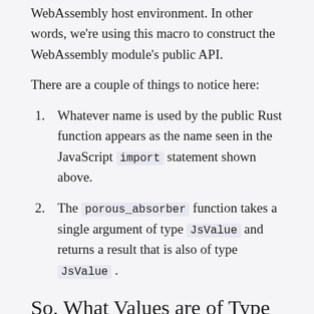WebAssembly host environment. In other words, we're using this macro to construct the WebAssembly module's public API.
There are a couple of things to notice here:
Whatever name is used by the public Rust function appears as the name seen in the JavaScript import statement shown above.
The porous_absorber function takes a single argument of type JsValue and returns a result that is also of type JsValue.
So, What Values are of Type